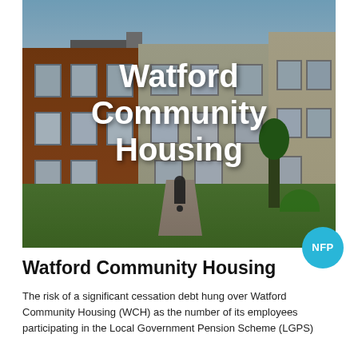[Figure (photo): Photograph of residential housing buildings with a person walking on a path. The image shows a red/brown brick building on the left, a beige/grey rendered building in the center, and another building on the right, with trees and grass in the foreground and sky above. Bold white text 'Watford Community Housing' is overlaid on the photo, and a cyan 'NFP' badge circle appears in the bottom right.]
Watford Community Housing
The risk of a significant cessation debt hung over Watford Community Housing (WCH) as the number of its employees participating in the Local Government Pension Scheme (LGPS)